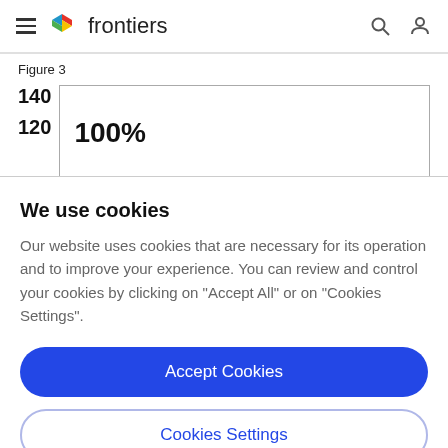frontiers
Figure 3
[Figure (bar-chart): Partial view of a bar chart showing y-axis labels 140 and 120, and a bar displaying 100%]
We use cookies
Our website uses cookies that are necessary for its operation and to improve your experience. You can review and control your cookies by clicking on "Accept All" or on "Cookies Settings".
Accept Cookies
Cookies Settings